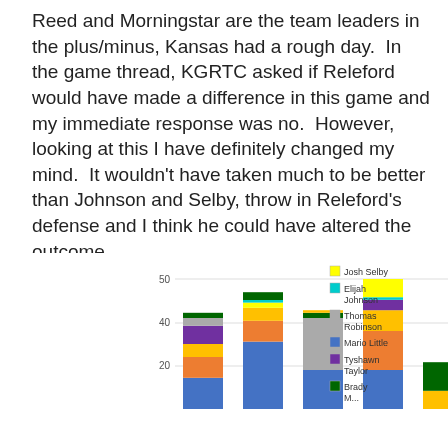Reed and Morningstar are the team leaders in the plus/minus, Kansas had a rough day.  In the game thread, KGRTC asked if Releford would have made a difference in this game and my immediate response was no.  However, looking at this I have definitely changed my mind.  It wouldn't have taken much to be better than Johnson and Selby, throw in Releford's defense and I think he could have altered the outcome.
[Figure (stacked-bar-chart): ]